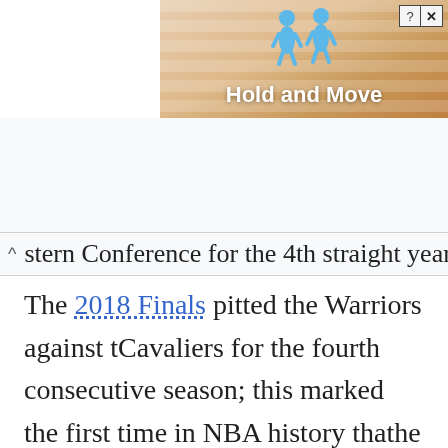[Figure (screenshot): Advertisement banner showing 'Hold and Move' game with cartoon figures, close button in top right]
stern Conference for the 4th straight year
The 2018 Finals pitted the Warriors against the Cavaliers for the fourth consecutive season; this marked the first time in NBA history that the same two teams had met in the Finals for four consecutive years. The Warriors swept the Cavaliers to win their second straight NBA championship; previously, there had not been an NBA Finals sweep since 2007.[109] On August